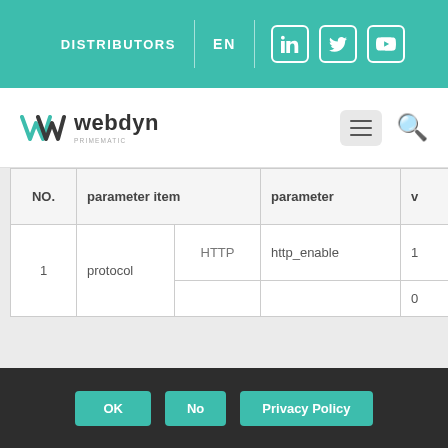DISTRIBUTORS | EN
[Figure (logo): Webdyn logo with WM mark and brand name]
| NO. | parameter item | parameter | v |
| --- | --- | --- | --- |
| 1 | protocol  HTTP | http_enable | 1
0 |
We use cookies to ensure you have the best experience on our website. If you continue to use this site, we will assume that you are happy with it.